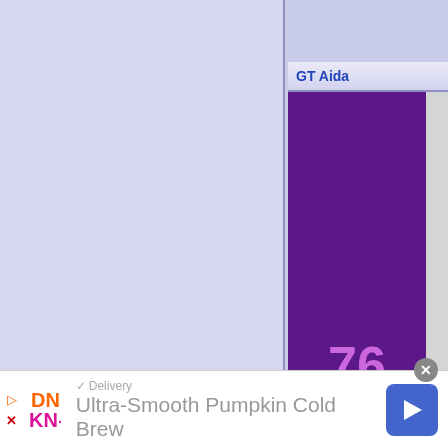GT Aida
[Figure (other): Race entry card showing rank number 76 in purple column with 'Photo Not Available (contribution appreciated)' placeholder on grey background]
500 km Fuji
[Figure (other): Advertisement banner for Dunkin' showing 'Ultra-Smooth Pumpkin Cold Brew' with delivery option and navigation arrow]